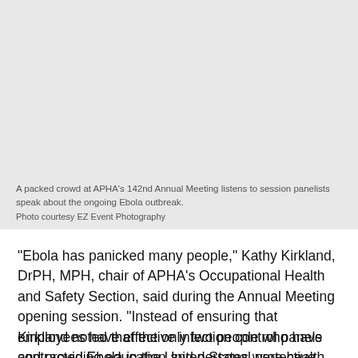[Figure (photo): A packed crowd at APHA's 142nd Annual Meeting listens to session panelists speak about the ongoing Ebola outbreak. Gray placeholder area representing the photograph.]
A packed crowd at APHA's 142nd Annual Meeting listens to session panelists speak about the ongoing Ebola outbreak.
Photo courtesy EZ Event Photography
“Ebola has panicked many people,” Kathy Kirkland, DrPH, MPH, chair of APHA’s Occupational Health and Safety Section, said during the Annual Meeting opening session. “Instead of ensuring that employees have effective infection control panels and providing education and personal protective equipment, what we’re seeing is stigma and fear.”
Kirkland noted that the only two people who have contracted Ebola in the United States were health workers, and they caught the virus